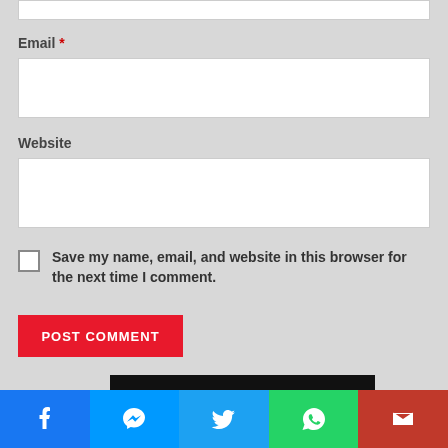Email *
[Figure (screenshot): Empty email text input field]
Website
[Figure (screenshot): Empty website text input field]
Save my name, email, and website in this browser for the next time I comment.
POST COMMENT
[Figure (infographic): Black banner with text: YOUTH WRESTLING IN HENRICO, VA.]
[Figure (infographic): Social media share bar with Facebook, Messenger, Twitter, WhatsApp, and Gmail icons]